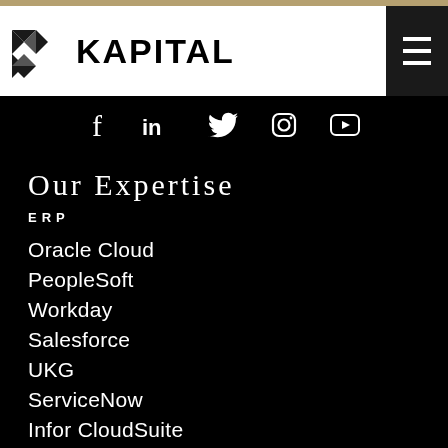KAPITAL
[Figure (logo): Kapital logo with geometric diamond/arrow shapes]
f  in  (twitter bird)  (instagram)  (youtube)
Our Expertise
ERP
Oracle Cloud
PeopleSoft
Workday
Salesforce
UKG
ServiceNow
Infor CloudSuite